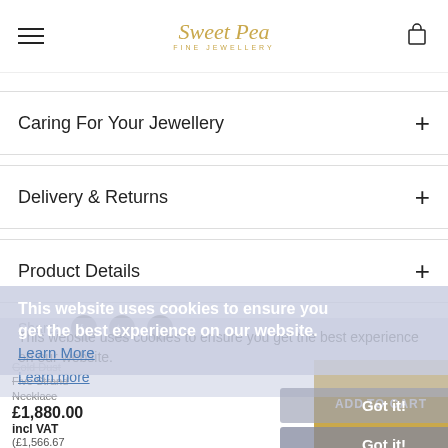Sweet Pea Fine Jewellery
Caring For Your Jewellery
Delivery & Returns
Product Details
Share:
This website uses cookies to ensure you get the best experience on our website. Learn More
This website uses cookies to ensure you get the best experience on our website. Learn more
Gold Dust Five Strand Necklace £1,880.00 incl VAT (£1,566.67
Got it!
Got it!
ADD TO CART